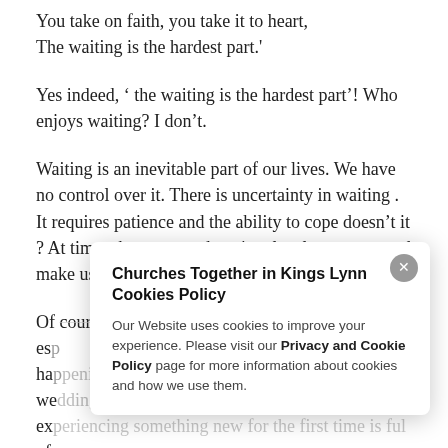You take on faith, you take it to heart, The waiting is the hardest part.'
Yes indeed, ‘ the waiting is the hardest part’! Who enjoys waiting? I don’t.
Waiting is an inevitable part of our lives. We have no control over it. There is uncertainty in waiting . It requires patience and the ability to cope doesn’t it ? At times the stress and anxiety levels creep up and make us weary.
Of course waiting can be quite exciting too: esp... ha... we... exp... of...
Churches Together in Kings Lynn Cookies Policy
Our Website uses cookies to improve your experience. Please visit our Privacy and Cookie Policy page for more information about cookies and how we use them.